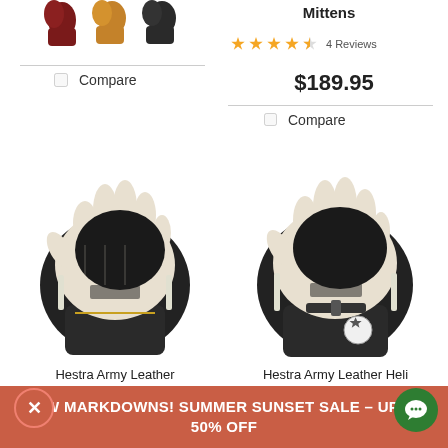[Figure (photo): Color swatches for gloves: dark red/maroon, tan/caramel, black pairs shown as small glove thumbnails]
Compare
Mittens
4 Reviews
$189.95
Compare
[Figure (photo): Hestra Army Leather Gore-Tex ski gloves — black body with cream/white leather palm and finger tips]
[Figure (photo): Hestra Army Leather Heli Ski 5-Finger gloves — black body with cream/white leather palm and fingers, logo badge on wrist]
Hestra Army Leather Gore-Tex Gloves
Hestra Army Leather Heli Ski 5-Finger Gloves
8 Reviews
28 Reviews
NEW MARKDOWNS! SUMMER SUNSET SALE – UP TO 50% OFF